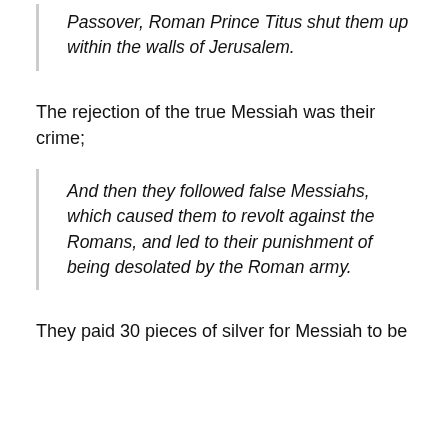Passover, Roman Prince Titus shut them up within the walls of Jerusalem.
The rejection of the true Messiah was their crime;
And then they followed false Messiahs, which caused them to revolt against the Romans, and led to their punishment of being desolated by the Roman army.
They paid 30 pieces of silver for Messiah to be